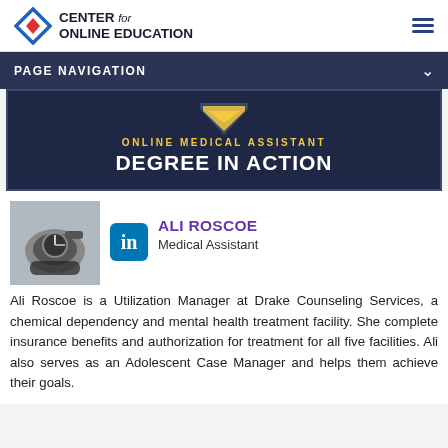CENTER for ONLINE EDUCATION
PAGE NAVIGATION
[Figure (infographic): Online Medical Assistant Degree in Action banner with gold chevron/shield icon on dark navy background]
[Figure (photo): Photo of blood pressure measurement device being held]
[Figure (logo): LinkedIn icon - blue rounded square with 'in' text]
ALI ROSCOE
Medical Assistant
Ali Roscoe is a Utilization Manager at Drake Counseling Services, a chemical dependency and mental health treatment facility. She complete insurance benefits and authorization for treatment for all five facilities. Ali also serves as an Adolescent Case Manager and helps them achieve their goals.